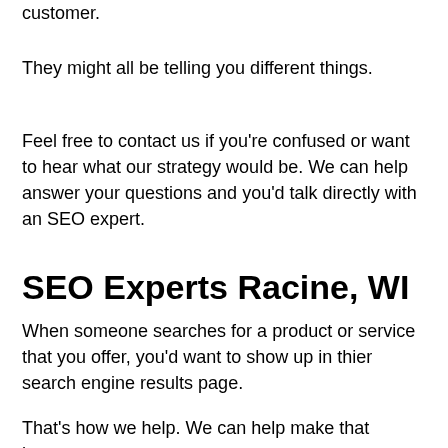customer.
They might all be telling you different things.
Feel free to contact us if you're confused or want to hear what our strategy would be. We can help answer your questions and you'd talk directly with an SEO expert.
SEO Experts Racine, WI
When someone searches for a product or service that you offer, you'd want to show up in thier search engine results page.
That's how we help. We can help make that happen.